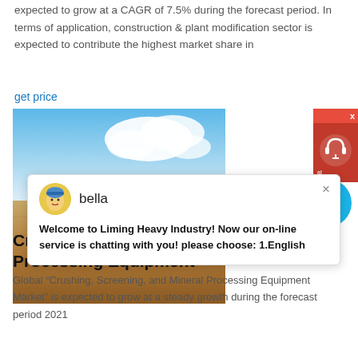expected to grow at a CAGR of 7.5% during the forecast period. In terms of application, construction & plant modification sector is expected to contribute the highest market share in
get price
[Figure (photo): Photo of outdoor mining/construction site with blue sky and clouds at top, machinery and dirt ground at bottom]
[Figure (screenshot): Red customer support chat widget with headset icon, positioned top right]
[Figure (screenshot): Chat popup from 'bella' saying: Welcome to Liming Heavy Industry! Now our on-line service is chatting with you! please choose: 1.English]
[Figure (other): Blue circle notification badge with number 1]
Crushing, Screening, and Mineral Processing Equipment
Global "Crushing, Screening, and Mineral Processing Equipment Market" is expected to grow at a steady growth during the forecast period 2021